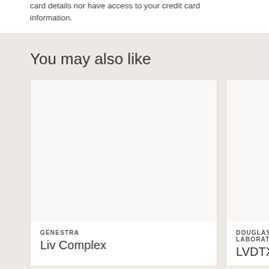card details nor have access to your credit card information.
You may also like
GENESTRA
Liv Complex
DOUGLAS LABORATORIE
LVDTX